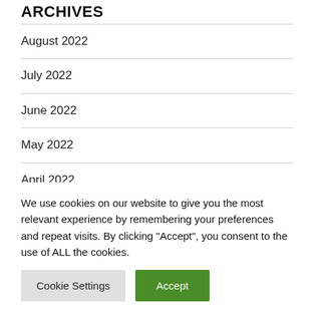ARCHIVES
August 2022
July 2022
June 2022
May 2022
April 2022
March 2022
We use cookies on our website to give you the most relevant experience by remembering your preferences and repeat visits. By clicking “Accept”, you consent to the use of ALL the cookies.
Cookie Settings | Accept